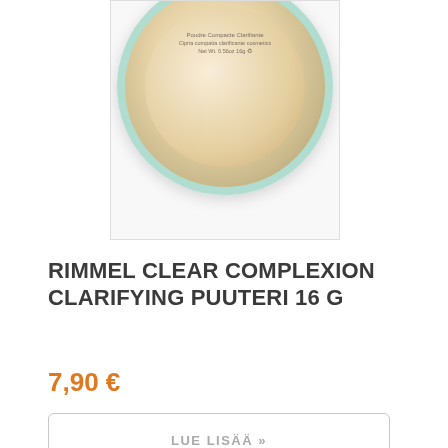[Figure (photo): Top portion of a compact powder product with teal/mint colored rim, beige powder surface visible, with small text on the product surface. Image shown in a light bordered rectangle.]
RIMMEL CLEAR COMPLEXION CLARIFYING PUUTERI 16 G
7,90 €
LUE LISÄÄ »
[Figure (photo): Bottom portion of a black eyeliner pen/pencil product shown vertically against a white background, inside a light bordered rectangle.]